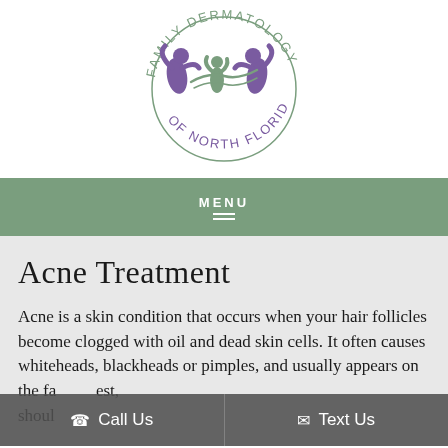[Figure (logo): Family Dermatology of North Florida circular logo with purple and green figures]
MENU
Acne Treatment
Acne is a skin condition that occurs when your hair follicles become clogged with oil and dead skin cells. It often causes whiteheads, blackheads or pimples, and usually appears on the face, chest, shoulders